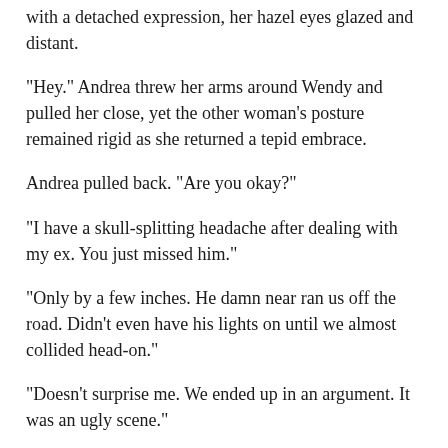with a detached expression, her hazel eyes glazed and distant.
“Hey.” Andrea threw her arms around Wendy and pulled her close, yet the other woman’s posture remained rigid as she returned a tepid embrace.
Andrea pulled back. “Are you okay?”
“I have a skull-splitting headache after dealing with my ex. You just missed him.”
“Only by a few inches. He damn near ran us off the road. Didn’t even have his lights on until we almost collided head-on.”
“Doesn’t surprise me. We ended up in an argument. It was an ugly scene.”
“If he was angry, that would explain his reckless driving,” Miranda chimed in.